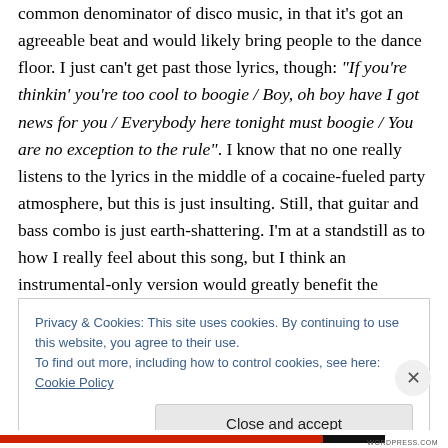common denominator of disco music, in that it's got an agreeable beat and would likely bring people to the dance floor. I just can't get past those lyrics, though: "If you're thinkin' you're too cool to boogie / Boy, oh boy have I got news for you / Everybody here tonight must boogie / You are no exception to the rule". I know that no one really listens to the lyrics in the middle of a cocaine-fueled party atmosphere, but this is just insulting. Still, that guitar and bass combo is just earth-shattering. I'm at a standstill as to how I really feel about this song, but I think an instrumental-only version would greatly benefit the
Privacy & Cookies: This site uses cookies. By continuing to use this website, you agree to their use.
To find out more, including how to control cookies, see here: Cookie Policy